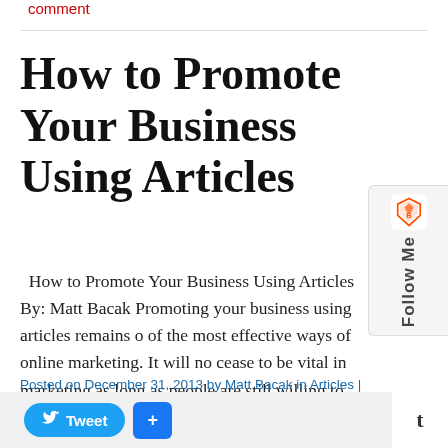comment
How to Promote Your Business Using Articles
How to Promote Your Business Using Articles By: Matt Bacak Promoting your business using articles remains one of the most effective ways of online marketing. It will not cease to be vital in marketing as long as people are still willing to consume written content. However, unless it is done well, your business would [...]